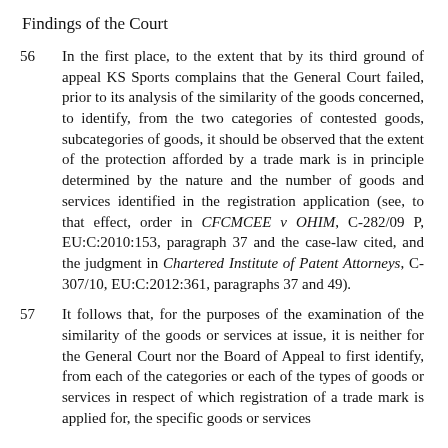Findings of the Court
56      In the first place, to the extent that by its third ground of appeal KS Sports complains that the General Court failed, prior to its analysis of the similarity of the goods concerned, to identify, from the two categories of contested goods, subcategories of goods, it should be observed that the extent of the protection afforded by a trade mark is in principle determined by the nature and the number of goods and services identified in the registration application (see, to that effect, order in CFCMCEE v OHIM, C-282/09 P, EU:C:2010:153, paragraph 37 and the case-law cited, and the judgment in Chartered Institute of Patent Attorneys, C-307/10, EU:C:2012:361, paragraphs 37 and 49).
57      It follows that, for the purposes of the examination of the similarity of the goods or services at issue, it is neither for the General Court nor the Board of Appeal to first identify, from each of the categories or each of the types of goods or services in respect of which registration of a trade mark is applied for, the specific goods or services